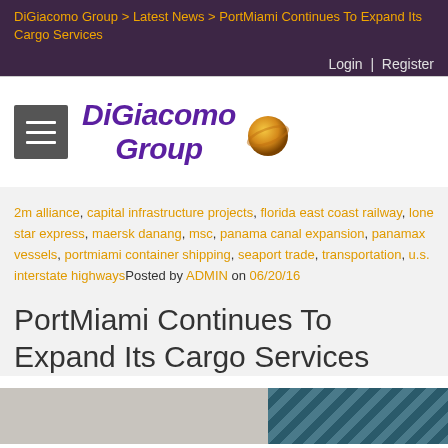DiGiacomo Group > Latest News > PortMiami Continues To Expand Its Cargo Services
Login | Register
[Figure (logo): DiGiacomo Group logo with planet icon and hamburger menu]
2m alliance, capital infrastructure projects, florida east coast railway, lone star express, maersk danang, msc, panama canal expansion, panamax vessels, portmiami container shipping, seaport trade, transportation, u.s. interstate highwaysPosted by ADMIN on 06/20/16
PortMiami Continues To Expand Its Cargo Services
[Figure (photo): Photo of port/shipping infrastructure]